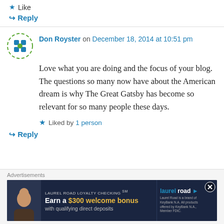★ Like
↳ Reply
Don Royster on December 18, 2014 at 10:51 pm
Love what you are doing and the focus of your blog. The questions so many now have about the American dream is why The Great Gatsby has become so relevant for so many people these days.
★ Liked by 1 person
↳ Reply
Advertisements
[Figure (screenshot): Laurel Road Loyalty Checking advertisement banner: Earn a $300 welcome bonus with qualifying direct deposits]